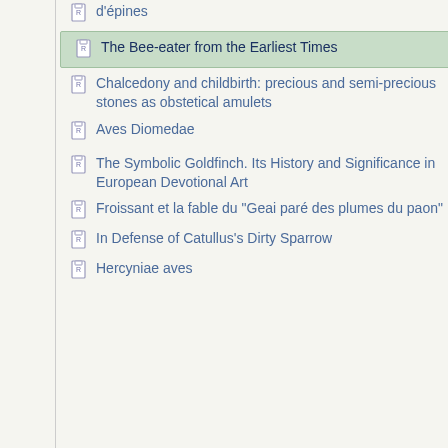d'épines
The Bee-eater from the Earliest Times
Chalcedony and childbirth: precious and semi-precious stones as obstetical amulets
Aves Diomedae
The Symbolic Goldfinch. Its History and Significance in European Devotional Art
Froissant et la fable du "Geai paré des plumes du paon"
In Defense of Catullus's Dirty Sparrow
Hercyniae aves